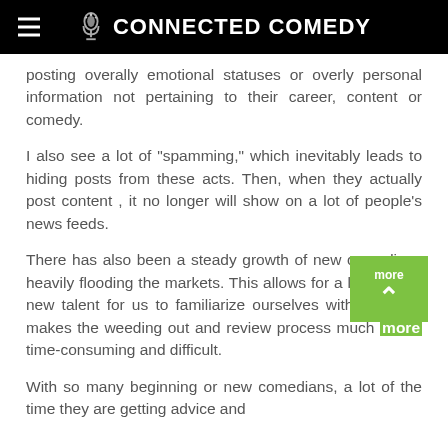CONNECTED COMEDY
posting overally emotional statuses or overly personal information not pertaining to their career, content or comedy.
I also see a lot of "spamming," which inevitably leads to hiding posts from these acts. Then, when they actually post content , it no longer will show on a lot of people's news feeds.
There has also been a steady growth of new comedians heavily flooding the markets. This allows for a lot of great new talent for us to familiarize ourselves with, but also makes the weeding out and review process much more time-consuming and difficult.
With so many beginning or new comedians, a lot of the time they are getting advice and